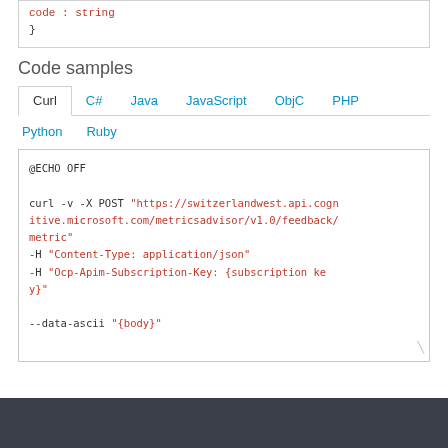code : string
}
Code samples
Curl  C#  Java  JavaScript  ObjC  PHP  Python  Ruby
@ECHO OFF

curl -v -X POST "https://switzerlandwest.api.cognitive.microsoft.com/metricsadvisor/v1.0/feedback/metric"
-H "Content-Type: application/json"
-H "Ocp-Apim-Subscription-Key: {subscription key}"

--data-ascii "{body}"